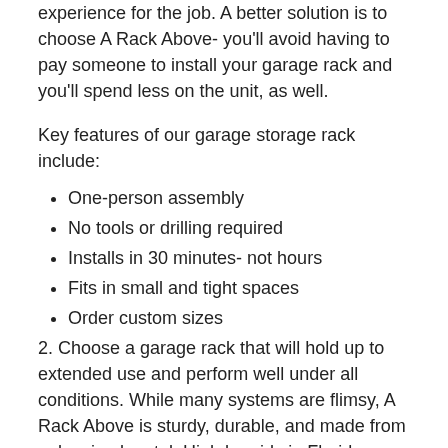experience for the job. A better solution is to choose A Rack Above- you'll avoid having to pay someone to install your garage rack and you'll spend less on the unit, as well.
Key features of our garage storage rack include:
One-person assembly
No tools or drilling required
Installs in 30 minutes- not hours
Fits in small and tight spaces
Order custom sizes
2. Choose a garage rack that will hold up to extended use and perform well under all conditions. While many systems are flimsy, A Rack Above is sturdy, durable, and made from galvanized metal. High humidy in Florida can cause corrosion over time, rendering a quality metal shelving system virtually useless in a few short years. A Rack Above provides excellent corrosion reistance, so you won't have to worry about